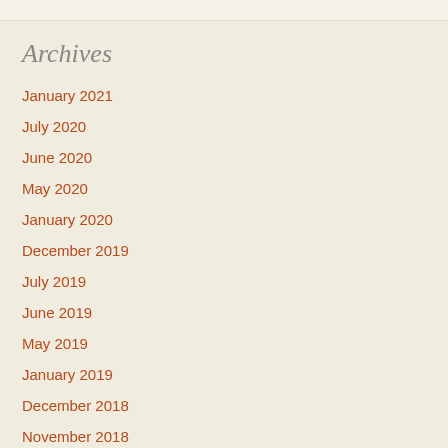Archives
January 2021
July 2020
June 2020
May 2020
January 2020
December 2019
July 2019
June 2019
May 2019
January 2019
December 2018
November 2018